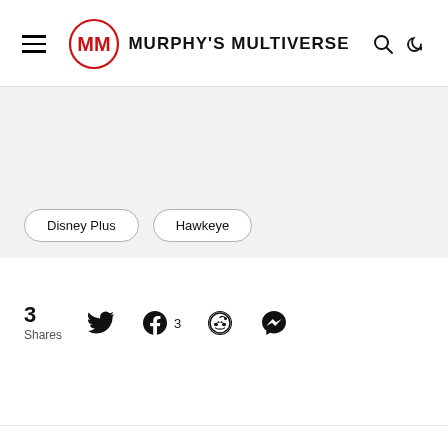Murphy's Multiverse
Disney Plus
Hawkeye
3 Shares